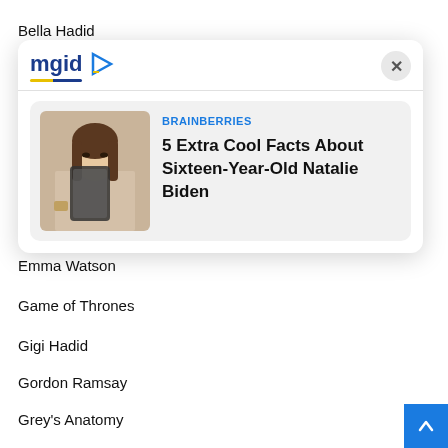Bella Hadid
Blue...
Charmed...
Ch...
Ch...
Da...
[Figure (screenshot): MGID advertising widget showing a sponsored article card. Header has the MGID logo with a play button icon and a close (X) button. The card shows a thumbnail photo of a young woman taking a selfie, labeled 'BRAINBERRIES' with headline '5 Extra Cool Facts About Sixteen-Year-Old Natalie Biden'.]
Emma Watson
Game of Thrones
Gigi Hadid
Gordon Ramsay
Grey's Anatomy
Hailey Bieber
Jeffree Star